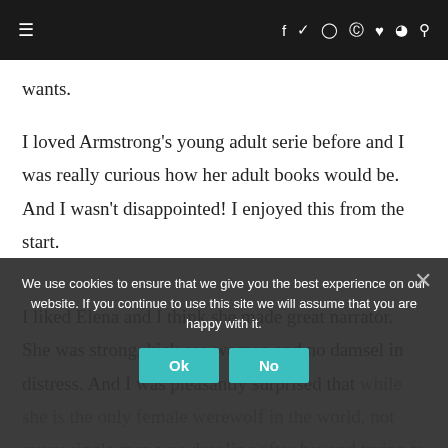≡   f  ✦  ◎  ⊕  ♥  )))  🔍
wants.
I loved Armstrong's young adult serie before and I was really curious how her adult books would be. And I wasn't disappointed! I enjoyed this from the start.
I liked Elena and I think she made great narrator. She was strong, kick ass-woman and no damsel in distress. And I was pleasantly surprised that while she is the only female werewolf in the world, not every single man was drooling after her and trying to get into bed! Elena has been a werewolf for 10 years but still trying to come to terms with it and hasn't forgiven Clay.
We use cookies to ensure that we give you the best experience on our website. If you continue to use this site we will assume that you are happy with it.
Ok  No